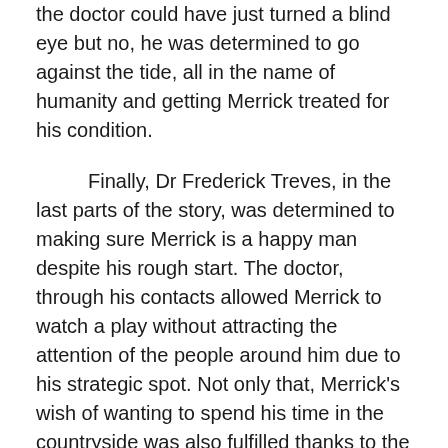the doctor could have just turned a blind eye but no, he was determined to go against the tide, all in the name of humanity and getting Merrick treated for his condition.
Finally, Dr Frederick Treves, in the last parts of the story, was determined to making sure Merrick is a happy man despite his rough start. The doctor, through his contacts allowed Merrick to watch a play without attracting the attention of the people around him due to his strategic spot. Not only that, Merrick's wish of wanting to spend his time in the countryside was also fulfilled thanks to the doctor and his friends.
These are the few examples of determination in Tim Vicary's “The Elephant Man,”